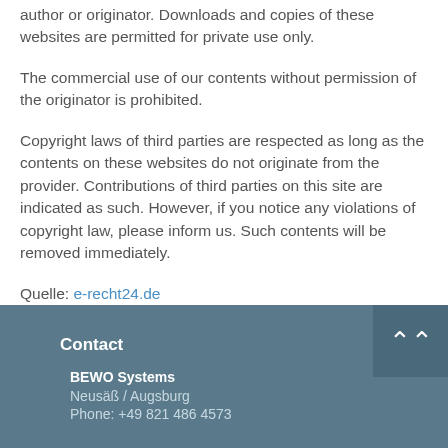author or originator. Downloads and copies of these websites are permitted for private use only.
The commercial use of our contents without permission of the originator is prohibited.
Copyright laws of third parties are respected as long as the contents on these websites do not originate from the provider. Contributions of third parties on this site are indicated as such. However, if you notice any violations of copyright law, please inform us. Such contents will be removed immediately.
Quelle: e-recht24.de
Contact
BEWO Systems
Neusäß / Augsburg
Phone: +49 821 486 4573